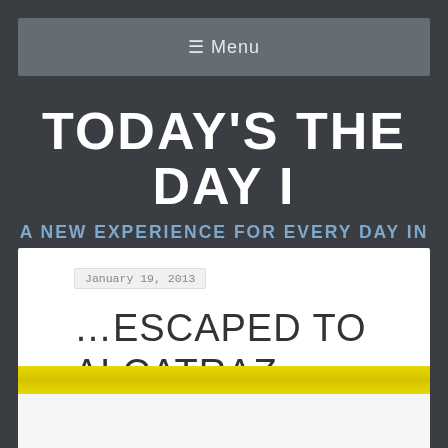≡ Menu
TODAY'S THE DAY I
A NEW EXPERIENCE FOR EVERY DAY IN NEW YORK
January 19, 2013
…ESCAPED TO ALCATRAZ
[Figure (photo): Yellow/gold textured surface photograph strip]